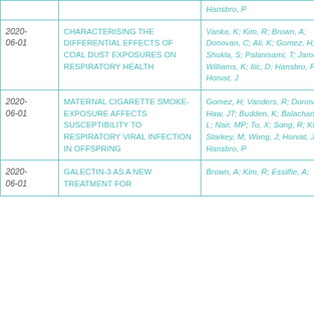| Date | Title | Authors |
| --- | --- | --- |
|  |  | Hansbro, P |
| 2020-06-01 | CHARACTERISING THE DIFFERENTIAL EFFECTS OF COAL DUST EXPOSURES ON RESPIRATORY HEALTH | Vanka, K; Kim, R; Brown, A; Donovan, C; Ali, K; Gomez, H; Shukla, S; Palanisami, T; James, C; Williams, K; Ilic, D; Hansbro, P; Horvat, J |
| 2020-06-01 | MATERNAL CIGARETTE SMOKE-EXPOSURE AFFECTS SUSCEPTIBILITY TO RESPIRATORY VIRAL INFECTION IN OFFSPRING | Gomez, H; Vanders, R; Donovan, C; Haw, JT; Budden, K; Balachandran, L; Nair, MP; Tu, X; Song, R; Kim, R; Starkey, M; Wong, J; Horvat, J; Hansbro, P |
| 2020-06-01 | GALECTIN-3 AS A NEW TREATMENT FOR | Brown, A; Kim, R; Essilfie, A; |